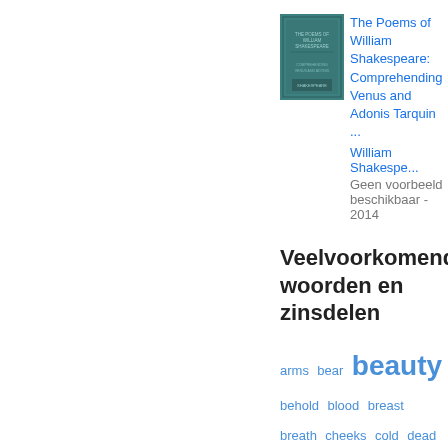[Figure (photo): Book cover of The Poems of William Shakespeare, teal/green colored hardcover book]
The Poems of William Shakespeare: Comprehending Venus and Adonis Tarquin ...
William Shakespeare
Geen voorbeeld beschikbaar - 2014
Veelvoorkomende woorden en zinsdelen
arms  bear  beauty  behold  blood  breast  breath  cheeks  cold  dead  dear  death  deeds  deep  delight  desire  dost  doth  earth  eyes  face  fair  false  fame